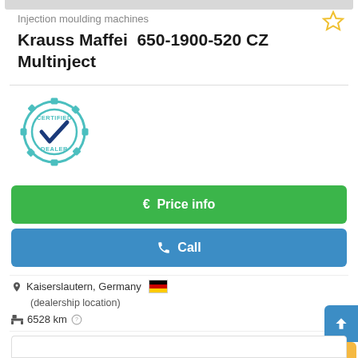[Figure (photo): Top cropped image strip of a machine listing]
Injection moulding machines
Krauss Maffei  650-1900-520 CZ Multinject
[Figure (logo): Certified Dealer badge with teal gear and checkmark]
€ Price info
✆ Call
Kaiserslautern, Germany 🇩🇪
(dealership location)
6528 km ?
2002
ready for ope...
✈ Save search query